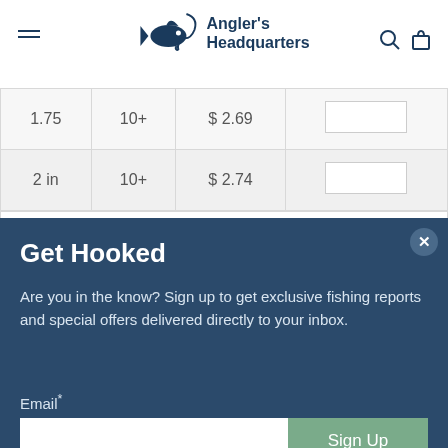Angler's Headquarters
| Size | Qty | Price | Input |
| --- | --- | --- | --- |
| 1.75 | 10+ | $ 2.69 |  |
| 2 in | 10+ | $ 2.74 |  |
Get Hooked
Are you in the know? Sign up to get exclusive fishing reports and special offers delivered directly to your inbox.
Email*
Sign Up